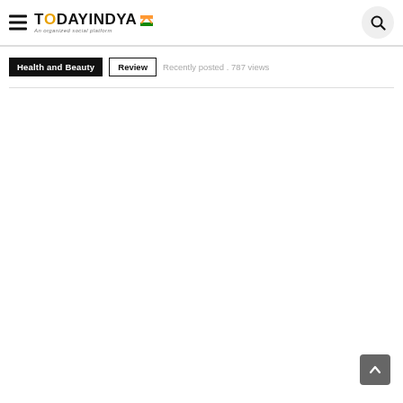TodayIndya — An organized social platform
Health and Beauty  Review  Recently posted . 787 views